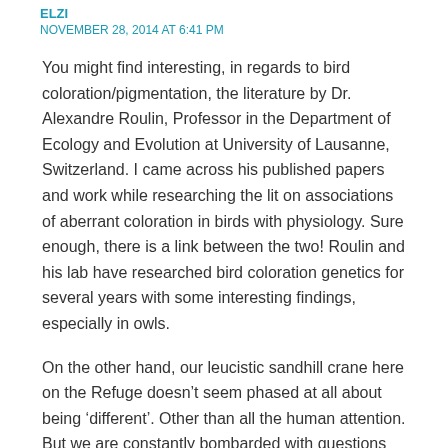ELZI
NOVEMBER 28, 2014 AT 6:41 PM
You might find interesting, in regards to bird coloration/pigmentation, the literature by Dr. Alexandre Roulin, Professor in the Department of Ecology and Evolution at University of Lausanne, Switzerland. I came across his published papers and work while researching the lit on associations of aberrant coloration in birds with physiology. Sure enough, there is a link between the two! Roulin and his lab have researched bird coloration genetics for several years with some interesting findings, especially in owls.
On the other hand, our leucistic sandhill crane here on the Refuge doesn’t seem phased at all about being ‘different’. Other than all the human attention. But we are constantly bombarded with questions about if that is a whooping crane or an ‘albino’. 😊
I love the graphic images you have included here. Very helpful in